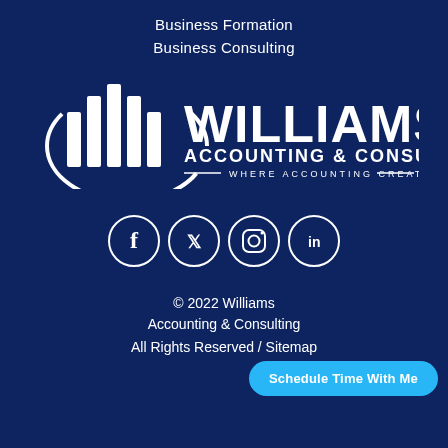Business Formation
Business Consulting
[Figure (logo): Williams Accounting & Consulting logo — white bar chart icon with text WILLIAMS ACCOUNTING & CONSULTING WHERE ACCOUNTING CREATES on dark blue background]
[Figure (infographic): Social media icons: Facebook, Twitter, Instagram, LinkedIn — white circle outlines on dark blue]
© 2022 Williams Accounting & Consulting
All Rights Reserved / Sitemap